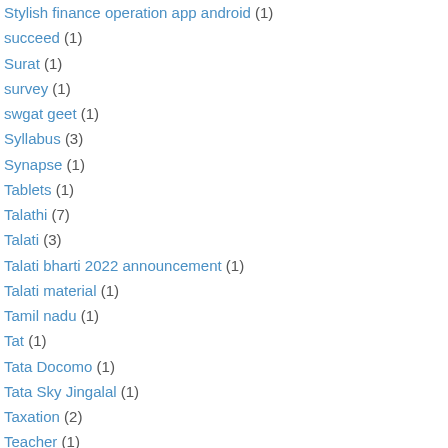Stylish finance operation app android (1)
succeed (1)
Surat (1)
survey (1)
swgat geet (1)
Syllabus (3)
Synapse (1)
Tablets (1)
Talathi (7)
Talati (3)
Talati bharti 2022 announcement (1)
Talati material (1)
Tamil nadu (1)
Tat (1)
Tata Docomo (1)
Tata Sky Jingalal (1)
Taxation (2)
Teacher (1)